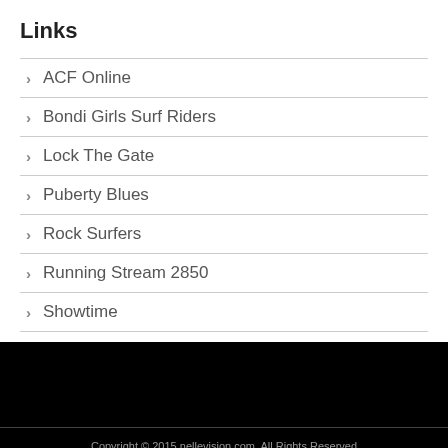Links
ACF Online
Bondi Girls Surf Riders
Lock The Gate
Puberty Blues
Rock Surfers
Running Stream 2850
Showtime
Copyright © 2015 nellevision.com. All Rights Reserved